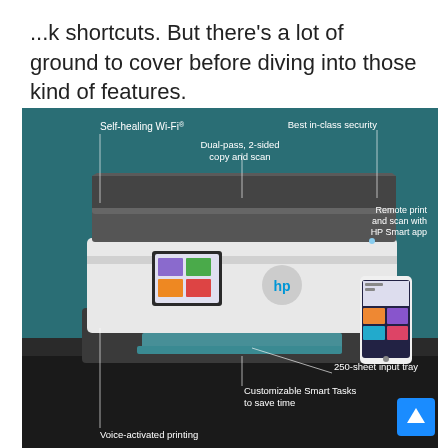...k shortcuts. But there's a lot of ground to cover before diving into those kind of features.
[Figure (photo): HP OfficeJet Pro printer on a dark surface with teal background. Labeled features: Self-healing Wi-Fi®, Dual-pass, 2-sided copy and scan, Best in-class security, Remote print and scan with HP Smart app, 250-sheet input tray, Customizable Smart Tasks to save time, Voice-activated printing. A smartphone showing the HP Smart app is visible to the right of the printer.]